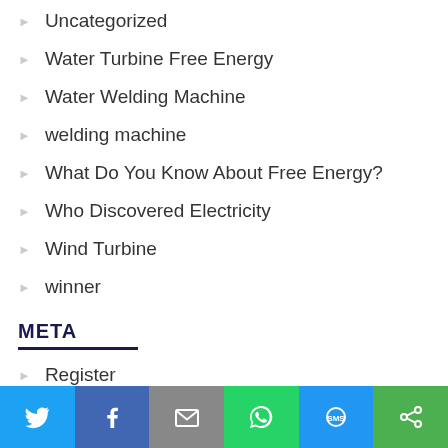Uncategorized
Water Turbine Free Energy
Water Welding Machine
welding machine
What Do You Know About Free Energy?
Who Discovered Electricity
Wind Turbine
winner
META
Register